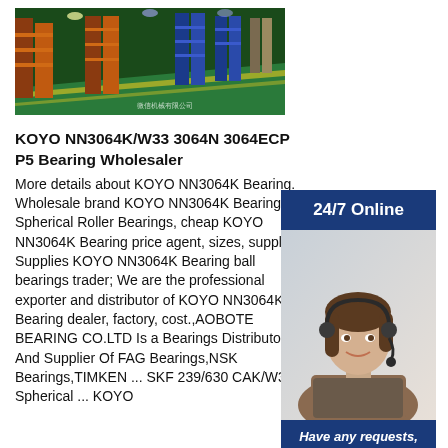[Figure (photo): Warehouse interior with tall shelving racks storing industrial parts/bearings, green floor, orange and blue shelving units visible.]
KOYO NN3064K/W33 3064N 3064ECP P5 Bearing Wholesaler
More details about KOYO NN3064K Bearing. Wholesale brand KOYO NN3064K Bearing Spherical Roller Bearings, cheap KOYO NN3064K Bearing price agent, sizes, supplier; Supplies KOYO NN3064K Bearing ball bearings trader; We are the professional exporter and distributor of KOYO NN3064K Bearing dealer, factory, cost.,AOBOTE BEARING CO.LTD Is a Bearings Distributor And Supplier Of FAG Bearings,NSK Bearings,TIMKEN ... SKF 239/630 CAK/W33 Spherical ... KOYO
[Figure (infographic): 24/7 Online support panel with a female customer service agent wearing a headset, 'Have any requests, click here.' text, and a Quotation button.]